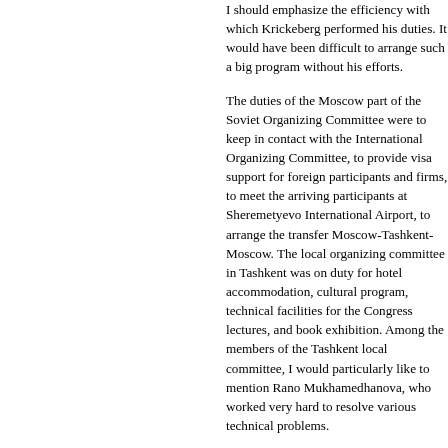I should emphasize the efficiency with which Krickeberg performed his duties. It would have been difficult to arrange such a big program without his efforts.
The duties of the Moscow part of the Soviet Organizing Committee were to keep in contact with the International Organizing Committee, to provide visa support for foreign participants and firms, to meet the arriving participants at Sheremetyevo International Airport, to arrange the transfer Moscow-Tashkent-Moscow. The local organizing committee in Tashkent was on duty for hotel accommodation, cultural program, technical facilities for the Congress lectures, and book exhibition. Among the members of the Tashkent local committee, I would particularly like to mention Rano Mukhamedhanova, who worked very hard to resolve various technical problems.
I arrived in Tashkent three weeks...